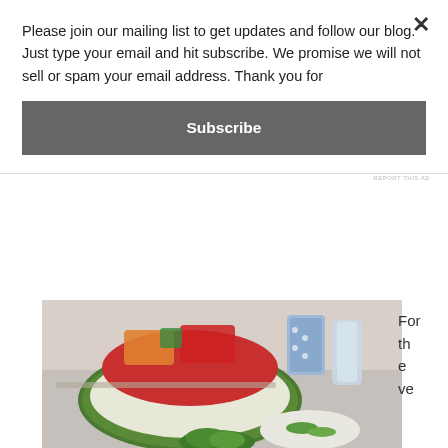Please join our mailing list to get updates and follow our blog. Just type your email and hit subscribe. We promise we will not sell or spam your email address. Thank you for
Subscribe
REPORT THIS AD
[Figure (photo): A carved watermelon fruit basket filled with strawberries, cantaloupe, and other fruits on a silver tray, with water bottles, cucumber slices in a bowl, and broccoli nearby.]
For the ve